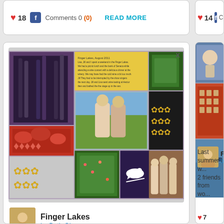18  Comments 0 (0)  READ MORE
[Figure (photo): Photo collage of Finger Lakes trip - wine bottles sculpture, landscape, two women posing outdoors, foliage patterns, daisy decorations, bird silhouette, and three people posing together indoors]
Finger Lakes by Beth Glass
shared on 12/27/2011
My friends and Ialso visited the Herman J. Weimer winery where we were treated very w...
Comments 0 (0)  READ MORE
14  Co
[Figure (photo): Partial photo collage visible on right side - graduation photo, red building exterior, waterfront scene]
Finger l... by Beth
Last summer I w... 2 friends from wo...
7